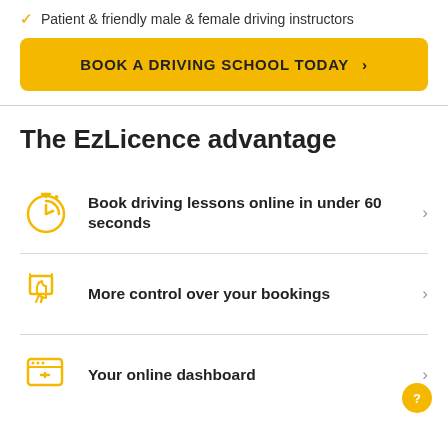Patient & friendly male & female driving instructors
BOOK A DRIVING SCHOOL TODAY >
The EzLicence advantage
Book driving lessons online in under 60 seconds
More control over your bookings
Your online dashboard